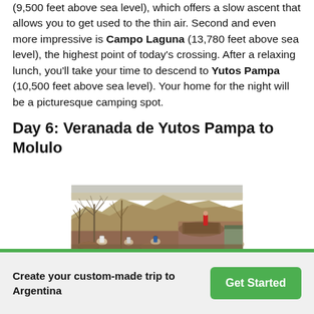(9,500 feet above sea level), which offers a slow ascent that allows you to get used to the thin air. Second and even more impressive is Campo Laguna (13,780 feet above sea level), the highest point of today's crossing. After a relaxing lunch, you'll take your time to descend to Yutos Pampa (10,500 feet above sea level). Your home for the night will be a picturesque camping spot.
Day 6: Veranada de Yutos Pampa to Molulo
[Figure (photo): Outdoor scene in an arid mountainous landscape. Several people are gathered near a pile of logs and a stone wall, with bare trees visible and dry hills in the background.]
Create your custom-made trip to Argentina